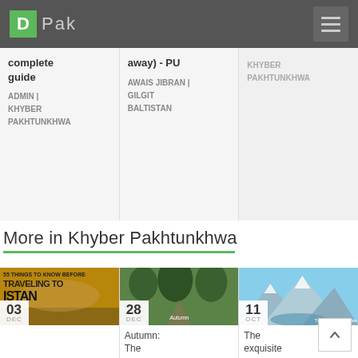D Pak
complete guide
ADMIN | KHYBER PAKHTUNKHWA
away) - PU
AWAIS JIBRAN | GILGIT BALTISTAN
KHYBER PAKHTUNKHWA
More in Khyber Pakhtunkhwa
03 DEC
55 THINGS TO KNOW BEFORE TRAVELING TO ISTAN
28 DEC
Autumn: The
11 OCT
The exquisite